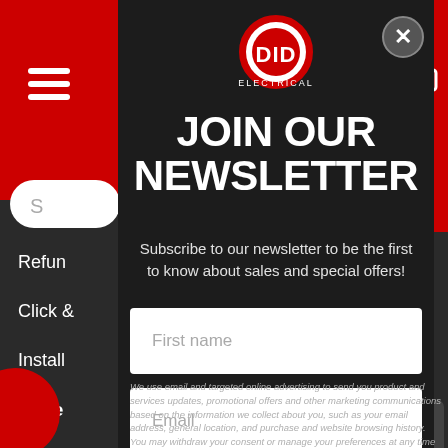[Figure (logo): DID Electrical logo — red circle with white DID letters and ELECTRICAL text below]
JOIN OUR NEWSLETTER
Subscribe to our newsletter to be the first to know about sales and special offers!
First name
Email
We use email and targeted online advertising to send you product and services updates, promotional offers and other marketing communications based on the information we collect about you, such as your email address, general location, and purchase and website browsing history. You may withdraw your consent or manage your preferences at any time by clicking the unsubscribe link at the bottom of any of our marketing emails.
Refun
Click &
Install
More
Locat
Open
Caree
WEEK
Co
Buil